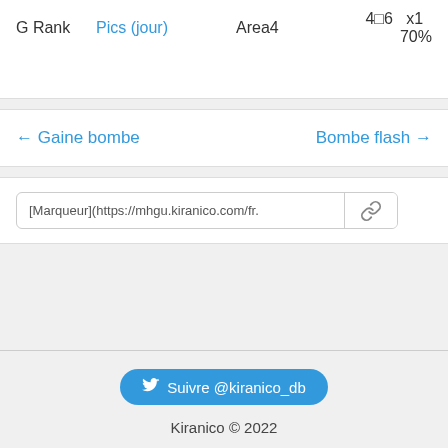| G Rank | Pics (jour) | Area4 | 4□6 | x1 | 70% |
| --- | --- | --- | --- | --- | --- |
← Gaine bombe
Bombe flash →
[Marqueur](https://mhgu.kiranico.com/fr.
Suivre @kiranico_db
Kiranico © 2022